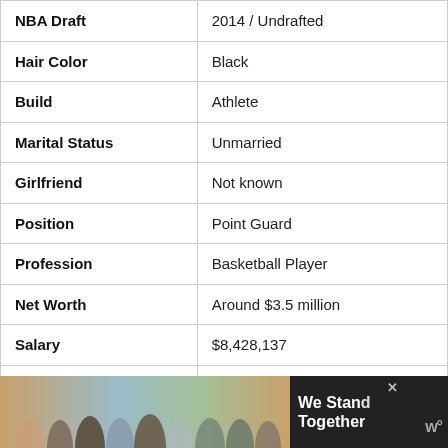| Field | Value |
| --- | --- |
| NBA Draft | 2014 / Undrafted |
| Hair Color | Black |
| Build | Athlete |
| Marital Status | Unmarried |
| Girlfriend | Not known |
| Position | Point Guard |
| Profession | Basketball Player |
| Net Worth | Around $3.5 million |
| Salary | $8,428,137 |
| Currently Plays for | Cleveland Cavaliers |
| League | NBA |
| Active Since | 2014 – present |